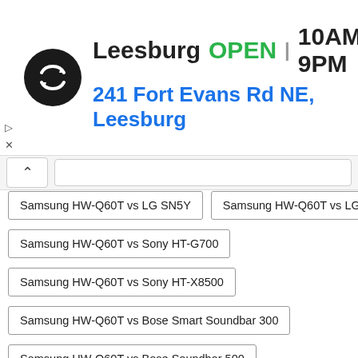[Figure (infographic): Advertisement banner for a store in Leesburg. Shows a circular black logo with a swap/infinity arrow symbol, store name 'Leesburg', status 'OPEN', hours '10AM-9PM', address '241 Fort Evans Rd NE, Leesburg', and a blue navigation arrow icon.]
Samsung HW-Q60T vs LG SN5Y
Samsung HW-Q60T vs LG SN6Y
Samsung HW-Q60T vs Sony HT-G700
Samsung HW-Q60T vs Sony HT-X8500
Samsung HW-Q60T vs Bose Smart Soundbar 300
Samsung HW-Q60T vs Bose Soundbar 500
Samsung HW-Q60T vs LG SL5Y
Samsung HW-Q60T vs Yamaha YAS-209
Samsung HW-Q60T vs Dayton Audio BS36
Samsung HW-Q60T vs Samsung HW-J355